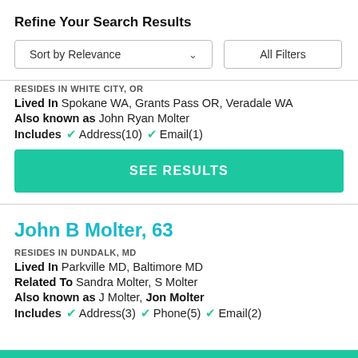Refine Your Search Results
Sort by Relevance   All Filters
RESIDES IN WHITE CITY, OR
Lived In  Spokane WA, Grants Pass OR, Veradale WA
Also known as  John Ryan Molter
Includes  ✓ Address(10)  ✓ Email(1)
SEE RESULTS
John B Molter, 63
RESIDES IN DUNDALK, MD
Lived In  Parkville MD, Baltimore MD
Related To  Sandra Molter, S Molter
Also known as  J Molter, Jon Molter
Includes  ✓ Address(3)  ✓ Phone(5)  ✓ Email(2)